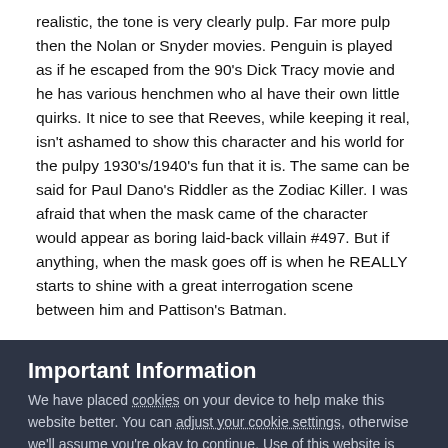realistic, the tone is very clearly pulp. Far more pulp then the Nolan or Snyder movies. Penguin is played as if he escaped from the 90's Dick Tracy movie and he has various henchmen who al have their own little quirks. It nice to see that Reeves, while keeping it real, isn't ashamed to show this character and his world for the pulpy 1930's/1940's fun that it is. The same can be said for Paul Dano's Riddler as the Zodiac Killer. I was afraid that when the mask came of the character would appear as boring laid-back villain #497. But if anything, when the mask goes off is when he REALLY starts to shine with a great interrogation scene between him and Pattison's Batman.
Important Information
We have placed cookies on your device to help make this website better. You can adjust your cookie settings, otherwise we'll assume you're okay to continue. Use of this website is subject to our Privacy Policy, Terms of Use, and Guidelines.
✔ I accept